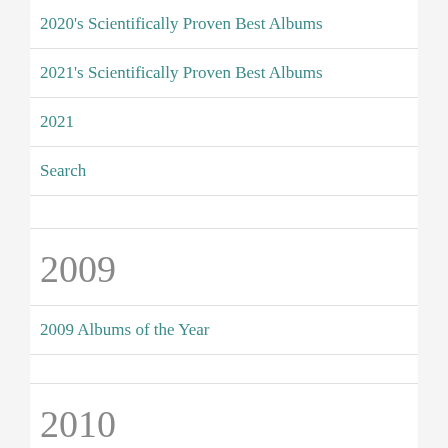2020's Scientifically Proven Best Albums
2021's Scientifically Proven Best Albums
2021
Search
2009
2009 Albums of the Year
2010